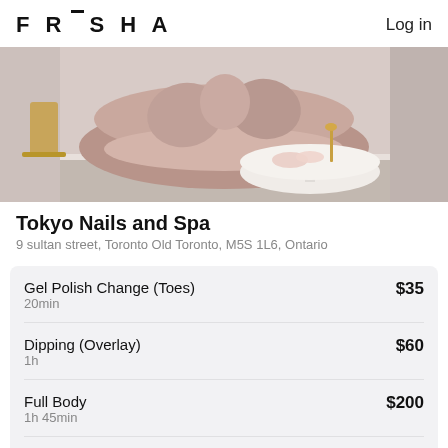FRESHA   Log in
[Figure (photo): Interior photo of Tokyo Nails and Spa showing a round pink/mauve velvet sofa with cushions and a round white marble side table with decorative items, against a light grey wall with hardwood floor.]
Tokyo Nails and Spa
9 sultan street, Toronto Old Toronto, M5S 1L6, Ontario
| Service | Duration | Price |
| --- | --- | --- |
| Gel Polish Change (Toes) | 20min | $35 |
| Dipping (Overlay) | 1h | $60 |
| Full Body | 1h 45min | $200 |
| Fix |  | From $5 |
Fix   From $5